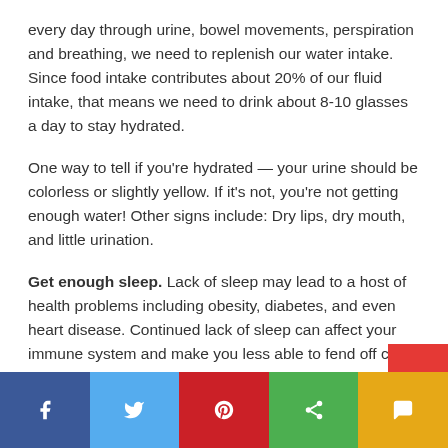every day through urine, bowel movements, perspiration and breathing, we need to replenish our water intake. Since food intake contributes about 20% of our fluid intake, that means we need to drink about 8-10 glasses a day to stay hydrated.
One way to tell if you're hydrated — your urine should be colorless or slightly yellow. If it's not, you're not getting enough water! Other signs include: Dry lips, dry mouth, and little urination.
Get enough sleep. Lack of sleep may lead to a host of health problems including obesity, diabetes, and even heart disease. Continued lack of sleep can affect your immune system and make you less able to fend off colds and the flu. So, it's important go get a good night's sleep.
[Figure (infographic): Social sharing bar with Facebook, Twitter, Pinterest, Share, and SMS buttons]